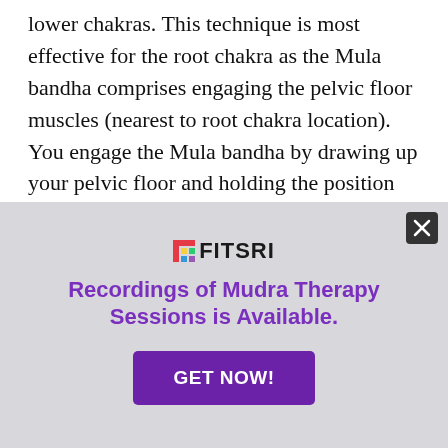lower chakras. This technique is most effective for the root chakra as the Mula bandha comprises engaging the pelvic floor muscles (nearest to root chakra location). You engage the Mula bandha by drawing up your pelvic floor and holding the position for a few seconds.
Moreover, you can also perform meditation
[Figure (infographic): Advertisement overlay on gray background for Fitsri. Contains the Fitsri logo with colorful icon, headline 'Recordings of Mudra Therapy Sessions is Available.' in purple bold text, and a purple 'GET NOW!' button. A close (X) button appears in the top-right corner.]